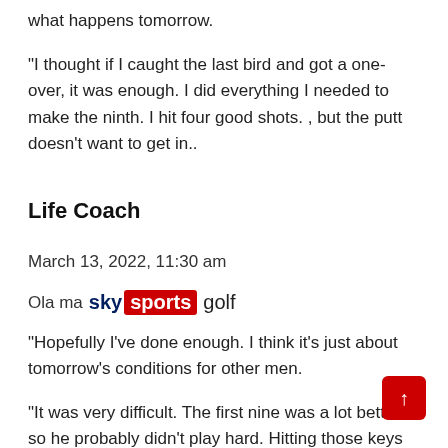what happens tomorrow.
“I thought if I caught the last bird and got a one-over, it was enough. I did everything I needed to make the ninth. I hit four good shots. , but the putt doesn’t want to get in..
Life Coach
March 13, 2022, 11:30 am
Ola ma sky sports golf
“Hopefully I’ve done enough. I think it’s just about tomorrow’s conditions for other men.
“It was very difficult. The first nine was a lot better so he probably didn’t play hard. Hitting those keys at 17 and